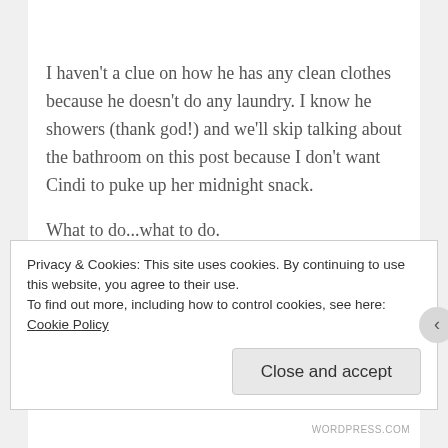I haven't a clue on how he has any clean clothes because he doesn't do any laundry.  I know he showers (thank god!) and we'll skip talking about the bathroom on this post because I don't want Cindi to puke up her midnight snack.
What to do...what to do.
Advertisements
[Figure (other): Green advertisement banner with scattered white dots pattern]
Privacy & Cookies: This site uses cookies. By continuing to use this website, you agree to their use.
To find out more, including how to control cookies, see here: Cookie Policy
Close and accept
WORDPRESS.COM